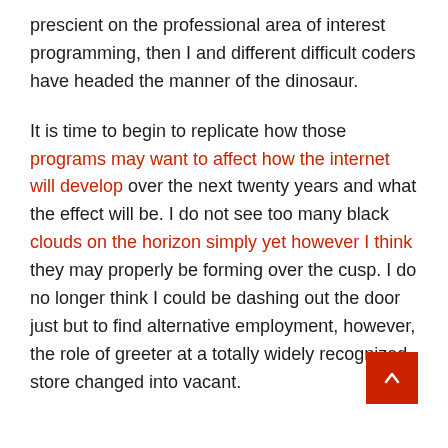prescient on the professional area of interest programming, then I and different difficult coders have headed the manner of the dinosaur.
It is time to begin to replicate how those programs may want to affect how the internet will develop over the next twenty years and what the effect will be. I do not see too many black clouds on the horizon simply yet however I think they may properly be forming over the cusp. I do no longer think I could be dashing out the door just but to find alternative employment, however, the role of greeter at a totally widely recognized store changed into vacant.